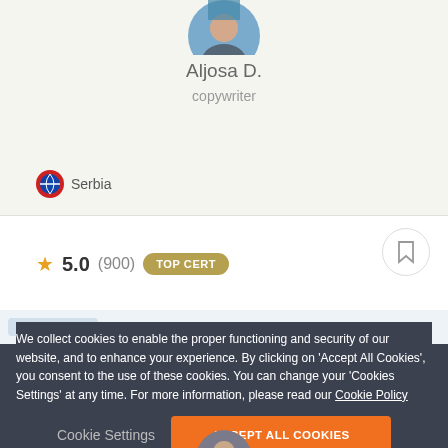[Figure (photo): Circular avatar photo of Aljosa D., a copywriter, partially cropped at top]
Aljosa D.
copywriter
Serbia
★ 5.0 (900) TOP CERT
ocean writing ×   business analysis   editing
We collect cookies to enable the proper functioning and security of our website, and to enhance your experience. By clicking on 'Accept All Cookies', you consent to the use of these cookies. You can change your 'Cookies Settings' at any time. For more information, please read our Cookie Policy
Cookie Settings
ACCEPT ALL COOKIES